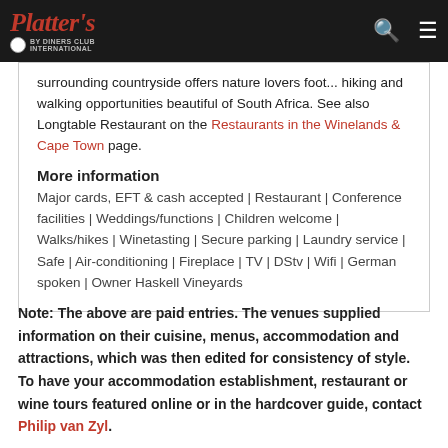Platters by Diners Club
surrounding countryside offers nature lovers foot... hiking and walking opportunities beautiful of South Africa. See also Longtable Restaurant on the Restaurants in the Winelands & Cape Town page.
More information
Major cards, EFT & cash accepted | Restaurant | Conference facilities | Weddings/functions | Children welcome | Walks/hikes | Winetasting | Secure parking | Laundry service | Safe | Air-conditioning | Fireplace | TV | DStv | Wifi | German spoken | Owner Haskell Vineyards
Note: The above are paid entries. The venues supplied information on their cuisine, menus, accommodation and attractions, which was then edited for consistency of style. To have your accommodation establishment, restaurant or wine tours featured online or in the hardcover guide, contact Philip van Zyl.